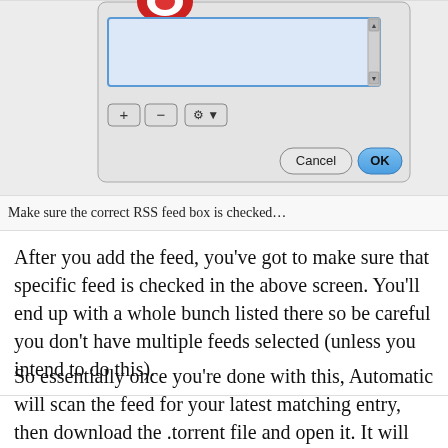[Figure (screenshot): macOS dialog box with a list box area (blue-tinted), plus/minus and gear buttons at bottom left, Cancel and OK buttons at bottom right. A partial red icon is visible at the top.]
Make sure the correct RSS feed box is checked…
After you add the feed, you've got to make sure that specific feed is checked in the above screen. You'll end up with a whole bunch listed there so be careful you don't have multiple feeds selected (unless you intend to do this).
So essentially once you're done with this, Automatic will scan the feed for your latest matching entry, then download the .torrent file and open it. It will open using whatever your default